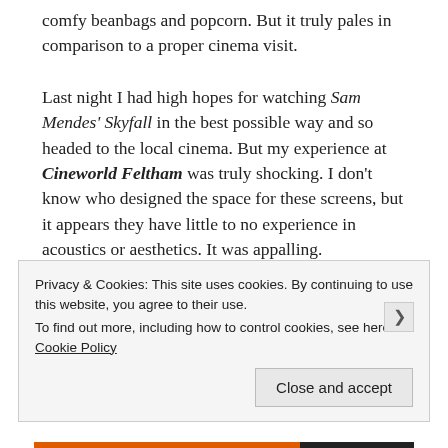comfy beanbags and popcorn. But it truly pales in comparison to a proper cinema visit.
Last night I had high hopes for watching Sam Mendes' Skyfall in the best possible way and so headed to the local cinema. But my experience at Cineworld Feltham was truly shocking. I don't know who designed the space for these screens, but it appears they have little to no experience in acoustics or aesthetics. It was appalling.
Privacy & Cookies: This site uses cookies. By continuing to use this website, you agree to their use. To find out more, including how to control cookies, see here: Cookie Policy
Close and accept